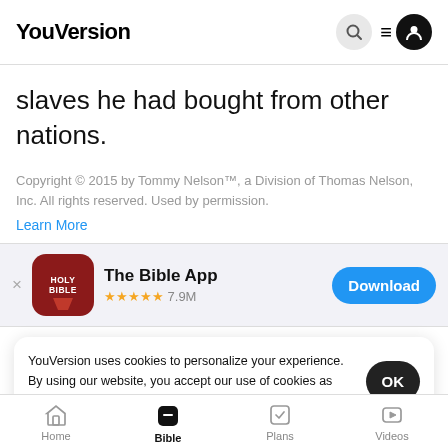YouVersion
slaves he had bought from other nations.
Copyright © 2015 by Tommy Nelson™, a Division of Thomas Nelson, Inc. All rights reserved. Used by permission.
Learn More
[Figure (screenshot): App store banner for The Bible App with Holy Bible icon, 5 stars, 7.9M ratings, and a Download button]
YouVersion uses cookies to personalize your experience. By using our website, you accept our use of cookies as described in our Privacy Policy.
Home   Bible   Plans   Videos